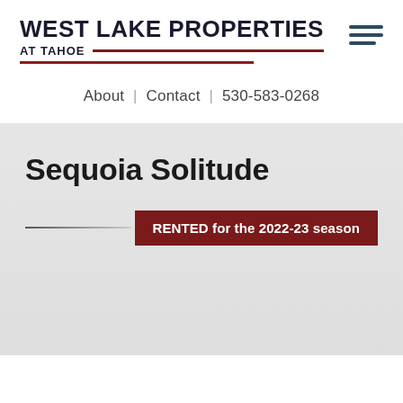WEST LAKE PROPERTIES AT TAHOE
About | Contact | 530-583-0268
Sequoia Solitude
RENTED for the 2022-23 season